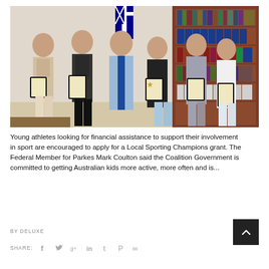[Figure (photo): Group photo of five young girls and a man in a blue shirt and tie, each holding framed certificates/awards, standing in an office with bookshelves and an Australian flag in the background.]
Young athletes looking for financial assistance to support their involvement in sport are encouraged to apply for a Local Sporting Champions grant. The Federal Member for Parkes Mark Coulton said the Coalition Government is committed to getting Australian kids more active, more often and is...
BY DELUXE